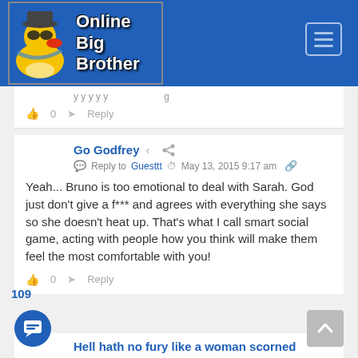[Figure (screenshot): Online Big Brother website header with logo (rubber duck with sunglasses and hat) and site name 'Online Big Brother' on blue background, with hamburger menu button]
0   Reply
Go Godfrey
Reply to Guesttt  May 13, 2015 9:17 am
Yeah... Bruno is too emotional to deal with Sarah. God just don't give a f*** and agrees with everything she says so she doesn't heat up. That's what I call smart social game, acting with people how you think will make them feel the most comfortable with you!
0   Reply
109
Hell hath no fury like a woman scorned